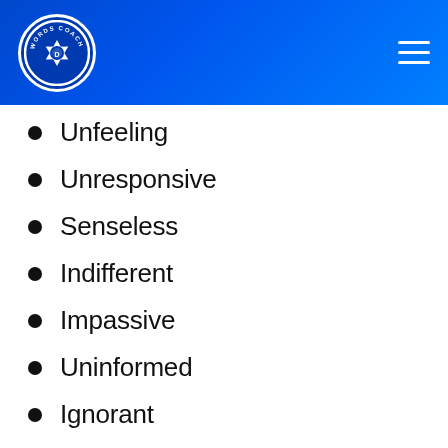[Figure (logo): Words Coach logo - circular camera aperture icon with text 'WORDS COACH' around the border on blue background]
Unfeeling
Unresponsive
Senseless
Indifferent
Impassive
Uninformed
Ignorant
Unaware
Heedless